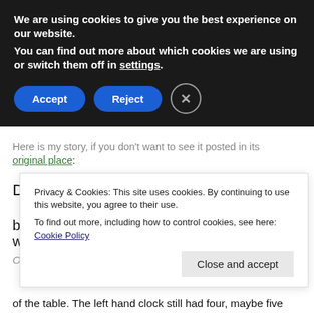We are using cookies to give you the best experience on our website.
You can find out more about which cookies we are using or switch them off in settings.
Accept | Reject | X
Here is my story, if you don't want to see it posted in its original place:
Doomsday... Check!
by Dr. Mike Reddy (@doctormikereddy) [272 words]
One minute remained on the timer.
Privacy & Cookies: This site uses cookies. By continuing to use this website, you agree to their use.
To find out more, including how to control cookies, see here: Cookie Policy
Close and accept
of the table. The left hand clock still had four, maybe five